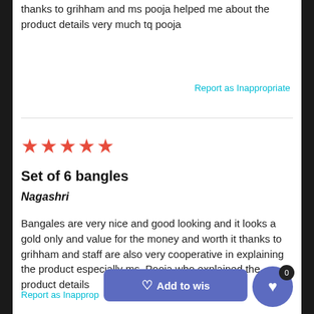thanks to grihham and ms pooja helped me about the product details very much tq pooja
Report as Inappropriate
[Figure (other): Horizontal divider line separating two reviews]
[Figure (other): Five red star rating icons]
Set of 6 bangles
Nagashri
Bangales are very nice and good looking and it looks a gold only and value for the money and worth it thanks to grihham and staff are also very cooperative in explaining the product especially ms. Pooja who explained the product details
Report as Inapprop...
[Figure (other): Add to wishlist button (blue rounded rectangle with heart icon) and floating circular heart button with badge showing 0]